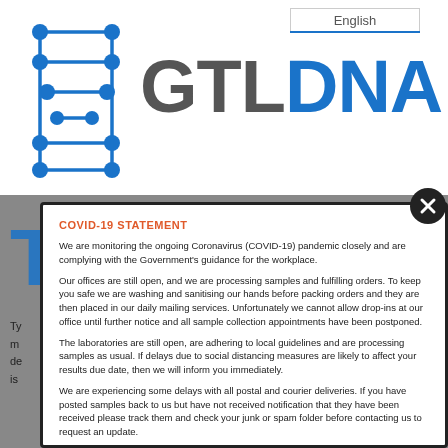[Figure (logo): GTLDNA logo with DNA-strand icon in blue and grey/blue brand text]
COVID-19 STATEMENT
We are monitoring the ongoing Coronavirus (COVID-19) pandemic closely and are complying with the Government's guidance for the workplace.
Our offices are still open, and we are processing samples and fulfilling orders. To keep you safe we are washing and sanitising our hands before packing orders and they are then placed in our daily mailing services. Unfortunately we cannot allow drop-ins at our office until further notice and all sample collection appointments have been postponed.
The laboratories are still open, are adhering to local guidelines and are processing samples as usual. If delays due to social distancing measures are likely to affect your results due date, then we will inform you immediately.
We are experiencing some delays with all postal and courier deliveries. If you have posted samples back to us but have not received notification that they have been received please track them and check your junk or spam folder before contacting us to request an update.